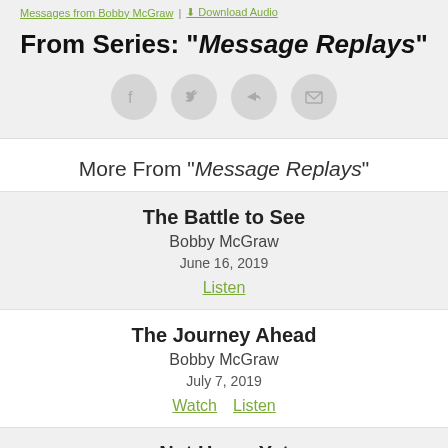Messages from Bobby McGraw | Download Audio
From Series: "Message Replays"
[Figure (infographic): Four circular social sharing icon buttons: Facebook, Twitter, Share/Forward, Email]
More From "Message Replays"
The Battle to See
Bobby McGraw
June 16, 2019
Listen
The Journey Ahead
Bobby McGraw
July 7, 2019
Watch  Listen
Not Home Yet
Bobby McGraw